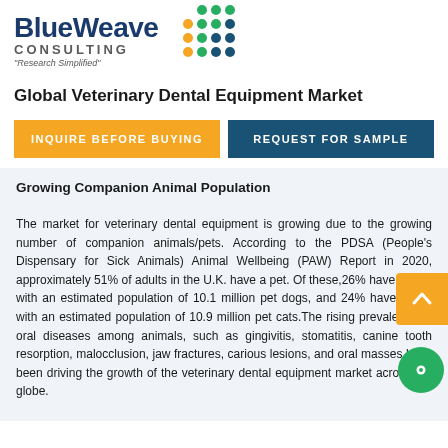[Figure (logo): BlueWeave Consulting logo with dot grid pattern and tagline 'Research Simplified']
Global Veterinary Dental Equipment Market
INQUIRE BEFORE BUYING
REQUEST FOR SAMPLE
Growing Companion Animal Population
The market for veterinary dental equipment is growing due to the growing number of companion animals/pets. According to the PDSA (People's Dispensary for Sick Animals) Animal Wellbeing (PAW) Report in 2020, approximately 51% of adults in the U.K. have a pet. Of these,26% have a dog, with an estimated population of 10.1 million pet dogs, and 24% have a cat, with an estimated population of 10.9 million pet cats.The rising prevalence of oral diseases among animals, such as gingivitis, stomatitis, canine tooth resorption, malocclusion, jaw fractures, carious lesions, and oral masses have been driving the growth of the veterinary dental equipment market across the globe.